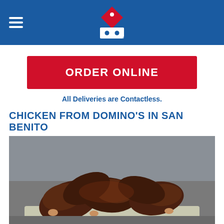Domino's navigation header with hamburger menu and logo
ORDER ONLINE
All Deliveries are Contactless.
CHICKEN FROM DOMINO'S IN SAN BENITO
[Figure (photo): Photo of BBQ chicken wings piled on foil]
ORDER BBQ WINGS